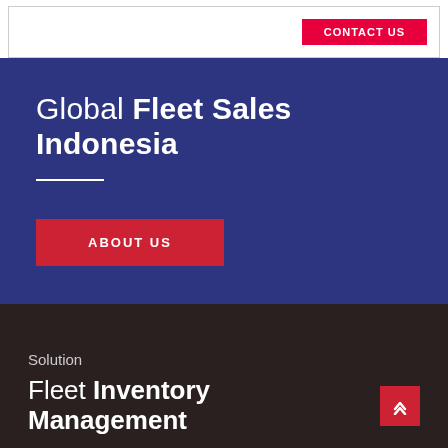[Figure (screenshot): Top white bar with a red button partially visible on the right side]
Global Fleet Sales Indonesia
ABOUT US
Solution
Fleet Inventory Management